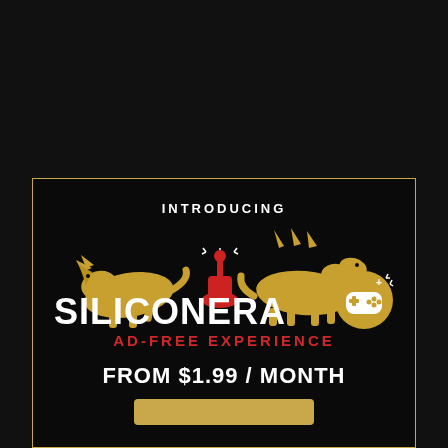[Figure (illustration): Dark black top section of page, appears to be a webpage screenshot background]
[Figure (infographic): Siliconera Ad-Free Experience promotional banner on black background with gold border. Features golden dinosaur silhouettes (triceratops and stegosaurus) holding a red joystick, white bold SILICONERA text, red AD-FREE EXPERIENCE text, gold badge with controller icon, and white text FROM $1.99 / MONTH with a gold button below.]